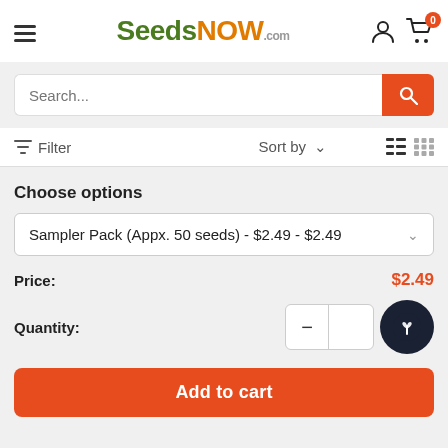[Figure (logo): SeedsNow.com logo with green and orange text]
Search...
Filter   Sort by   ∨
Choose options
Sampler Pack (Appx. 50 seeds) - $2.49 - $2.49
Price: $2.49
Quantity:
Add to cart